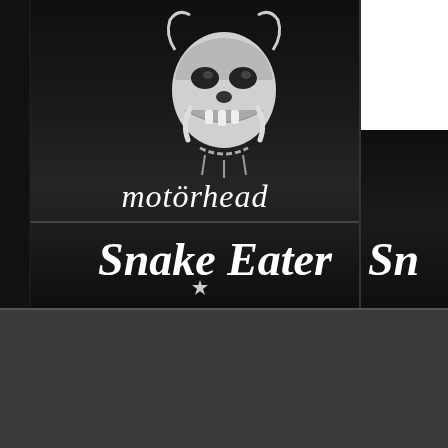[Figure (photo): Black and white photograph of Motörhead 'Snake Eater' album/product showing the band's iconic Snaggletooth skull logo and gothic lettering text 'motörhead' and 'Snake Eater', partially duplicated on the right side with a white area in the upper right corner.]
Subscribe for updates!
Your email
Submit!